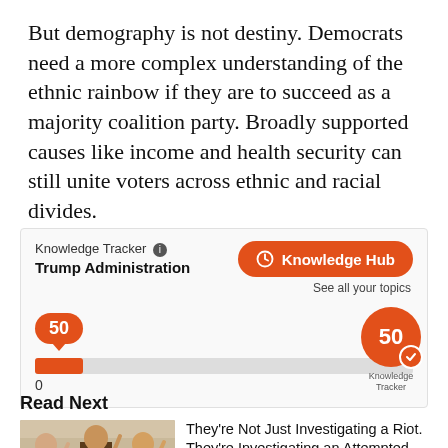But demography is not destiny. Democrats need a more complex understanding of the ethnic rainbow if they are to succeed as a majority coalition party. Broadly supported causes like income and health security can still unite voters across ethnic and racial divides.
[Figure (screenshot): Knowledge Tracker widget for Trump Administration topic with a score of 50 shown on a progress bar. Includes a Knowledge Hub button and a circular badge showing 50 with a checkmark.]
Read Next
[Figure (photo): Three men in suits raising their right hands as if being sworn in, inside an ornate hearing room.]
They're Not Just Investigating a Riot. They're Investigating an Attempted Coup.